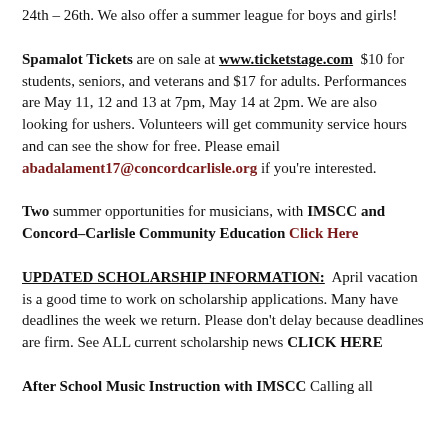24th – 26th. We also offer a summer league for boys and girls!
Spamalot Tickets are on sale at www.ticketstage.com  $10 for students, seniors, and veterans and $17 for adults. Performances are May 11, 12 and 13 at 7pm, May 14 at 2pm. We are also looking for ushers. Volunteers will get community service hours and can see the show for free. Please email abadalament17@concordcarlisle.org if you're interested.
Two summer opportunities for musicians, with IMSCC and Concord-Carlisle Community Education Click Here
UPDATED SCHOLARSHIP INFORMATION:  April vacation is a good time to work on scholarship applications. Many have deadlines the week we return. Please don't delay because deadlines are firm. See ALL current scholarship news CLICK HERE
After School Music Instruction with IMSCC Calling all